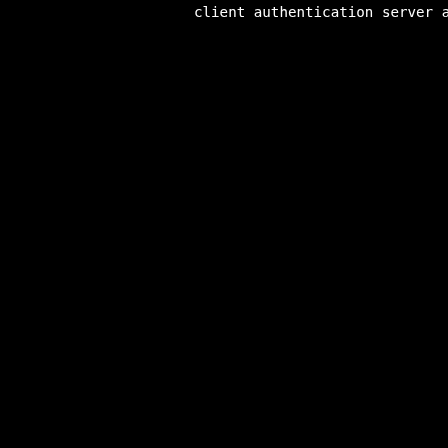client authentication
server authentication
Initial proxy rights = A
depth=2 /C=AU/O=Dodgy Bro
depth=1 /C=AU/O=Dodgy Bro
depth=0 /C=AU/O=Dodgy Bro
Certificate proxy rights =
Proxy rights check with co
Initial proxy rights = A
depth=2 /C=AU/O=Dodgy Bro
depth=1 /C=AU/O=Dodgy Bro
depth=0 /C=AU/O=Dodgy Bro
Certificate proxy rights =
Proxy rights check with co
TLSv1.2, cipher TLSv1/SSLV
1 handshakes of 256 bytes
test sslv2/sslv3 with both
Available compression meth
1: zlib compression
client authentication
server authentication
In app_verify_callback, al
Finished printing do we ha
cert depth=0 /C=AU/O=Dodgy